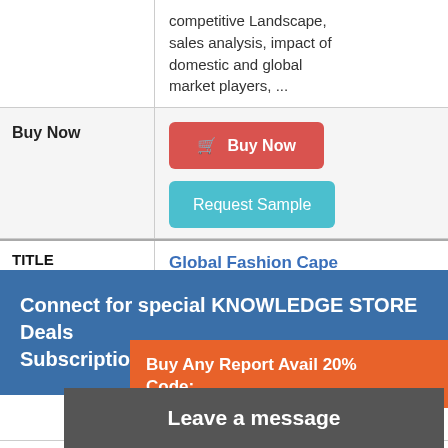competitive Landscape, sales analysis, impact of domestic and global market players, ...
| Buy Now |  |
| --- | --- |
| Buy Now | Buy Now | Request Sample |
| TITLE |  |
| --- | --- |
| TITLE | Global Fashion Cape |
3000 Onwards | By LP Information INC
According to this study, over the next five years the Fashion Cape market
Connect for special KNOWLEDGE STORE Deals Subscription starts at $ 20K
Buy Any Report Avail 20% Code:
Leave a message